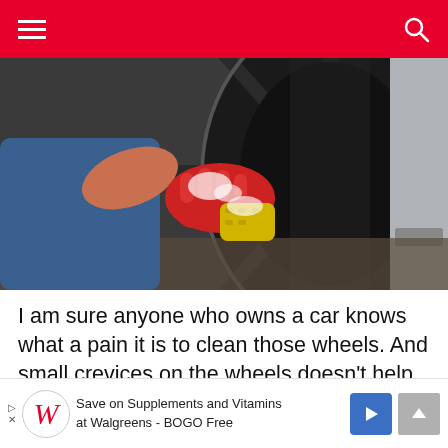Navigation header with hamburger menu and search icon on red background
[Figure (photo): Person wearing red rubber gloves cleaning a car wheel/rim with a yellow sponge, kneeling on the ground in jeans]
I am sure anyone who owns a car knows what a pain it is to clean those wheels. And small crevices on the wheels doesn't help your case either. All the caked dirt and grime that the wheels accumulate are nasty to clea
[Figure (infographic): Walgreens advertisement banner: Save on Supplements and Vitamins at Walgreens - BOGO Free, with Walgreens W logo and blue arrow icon]